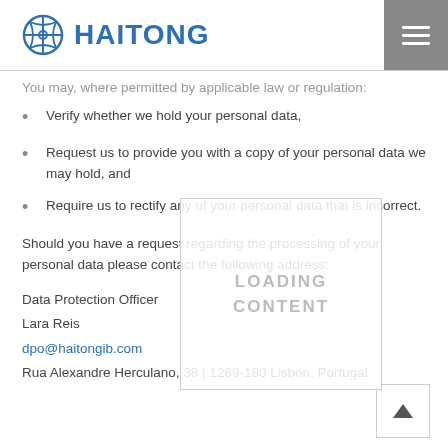HAITONG
You may, where permitted by applicable law or regulation:
Verify whether we hold your personal data,
Request us to provide you with a copy of your personal data we may hold, and
Require us to rectify any of your personal data that is incorrect.
Should you have a request regarding the processing of your personal data please contact the following address:
Data Protection Officer
Lara Reis
dpo@haitongib.com
Rua Alexandre Herculano, 38 | 1269-180 Lisbon, Portugal